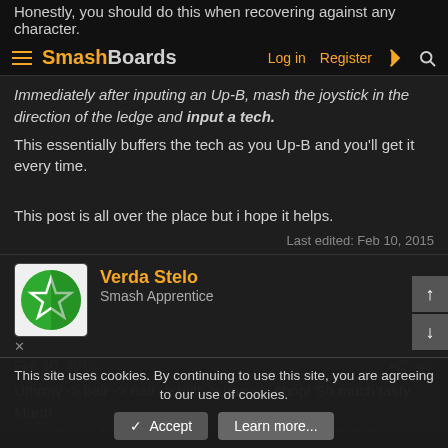Honestly, you should do this when recovering against any character.
SmashBoards — Log in  Register
Immediately after inputing an Up-B, mash the joystick in the direction of the ledge and input a tech.
This essentially buffers the tech as you Up-B and you'll get it every time.
This post is all over the place but i hope it helps.
Last edited: Feb 10, 2015
Verda Stelo
Smash Apprentice
Feb 10, 2015  #7
Uthrow -> bair -> nair -> utilt -> uair - > chop! So much tasty Marth
This site uses cookies. By continuing to use this site, you are agreeing to our use of cookies.